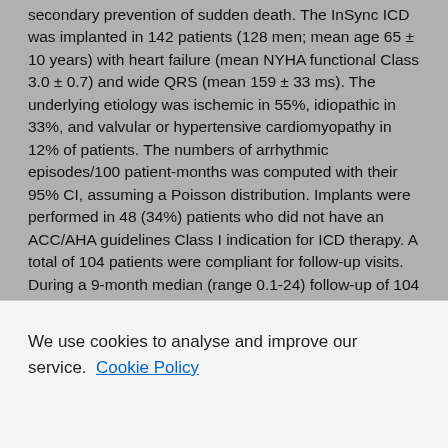secondary prevention of sudden death. The InSync ICD was implanted in 142 patients (128 men; mean age 65 ± 10 years) with heart failure (mean NYHA functional Class 3.0 ± 0.7) and wide QRS (mean 159 ± 33 ms). The underlying etiology was ischemic in 55%, idiopathic in 33%, and valvular or hypertensive cardiomyopathy in 12% of patients. The numbers of arrhythmic episodes/100 patient-months was computed with their 95% CI, assuming a Poisson distribution. Implants were performed in 48 (34%) patients who did not have an ACC/AHA guidelines Class I indication for ICD therapy. A total of 104 patients were compliant for follow-up visits. During a 9-month median (range 0.1-24) follow-up of 104 compliant patients, 19 experienced a total of 94 ventricular arrhythmias, all successfully interrupted or selfterminated, with a median number of two separate episodes, corresponding to a rate of 10 episodes/100 person-month (95% CI 8-12). A rate of 12 episodes/100 person-months (95% CI 10-15) was measured in the subgroup of patients with ACC/AHA class I indications, versus two episodes/100 person
We use cookies to analyse and improve our service. Cookie Policy